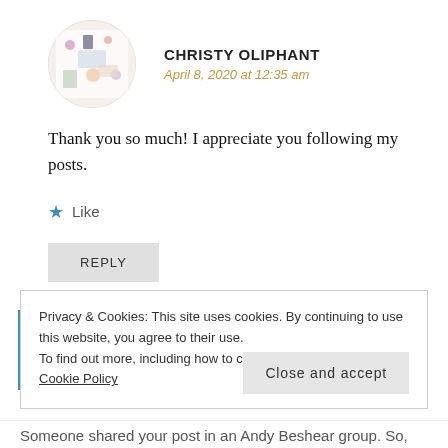[Figure (photo): Circular avatar photo of Christy Oliphant showing a flatlay with colorful items]
CHRISTY OLIPHANT
April 8, 2020 at 12:35 am
Thank you so much! I appreciate you following my posts.
★ Like
REPLY
Privacy & Cookies: This site uses cookies. By continuing to use this website, you agree to their use.
To find out more, including how to control cookies, see here: Cookie Policy
Close and accept
Someone shared your post in an Andy Beshear group. So,